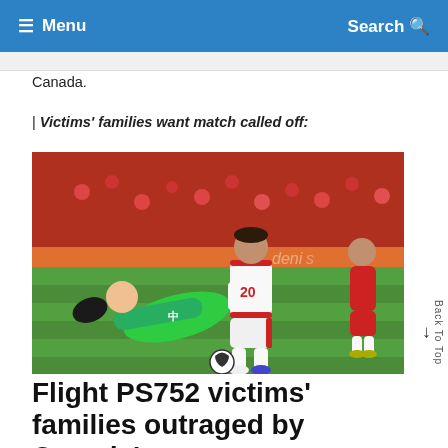≡ Menu   Search
Canada.
| Victims' families want match called off:
[Figure (photo): Soccer match photo showing an Iran player in white jersey number 20 dribbling past a green-uniformed goalkeeper diving on the ground, with red-uniformed players in the background on a grass pitch.]
Flight PS752 victims' families outraged by Canada's soccer